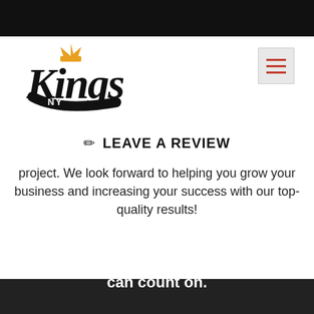[Figure (logo): Kings NY logo in script/cursive font with a gold crown above the K and 'NY' text on a banner beneath]
[Figure (other): Hamburger menu icon (three red horizontal lines) on a light gray button background]
LEAVE A REVIEW
project. We look forward to helping you grow your business and increasing your success with our top-quality results!
Quality you deserve. Dependability you can count on.